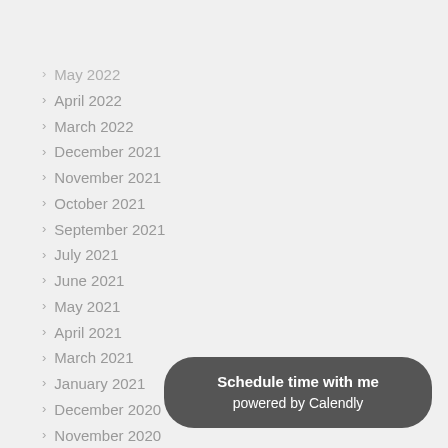May 2022
April 2022
March 2022
December 2021
November 2021
October 2021
September 2021
July 2021
June 2021
May 2021
April 2021
March 2021
January 2021
December 2020
November 2020
October 2020
Schedule time with me powered by Calendly